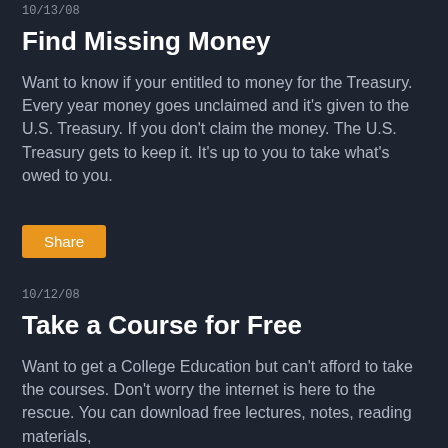10/13/08
Find Missing Money
Want to know if your entitled to money for the Treasury. Every year money goes unclaimed and it's given to the U.S. Treasury. If you don't claim the money. The U.S. Treasury gets to keep it. It's up to you to take what's owed to you.
Share
10/12/08
Take a Course for Free
Want to get a College Education but can't afford to take the courses. Don't worry the internet is here to the rescue. You can download free lectures, notes, reading materials,